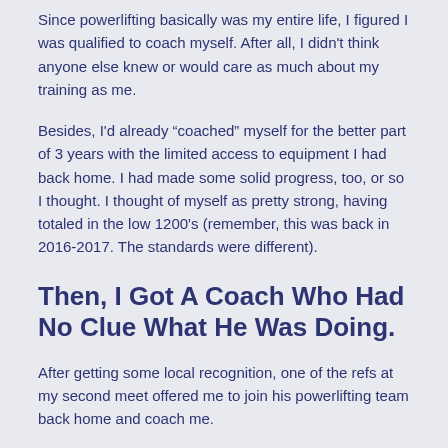Since powerlifting basically was my entire life, I figured I was qualified to coach myself. After all, I didn't think anyone else knew or would care as much about my training as me.
Besides, I'd already “coached” myself for the better part of 3 years with the limited access to equipment I had back home. I had made some solid progress, too, or so I thought. I thought of myself as pretty strong, having totaled in the low 1200's (remember, this was back in 2016-2017. The standards were different).
Then, I Got A Coach Who Had No Clue What He Was Doing.
After getting some local recognition, one of the refs at my second meet offered me to join his powerlifting team back home and coach me.